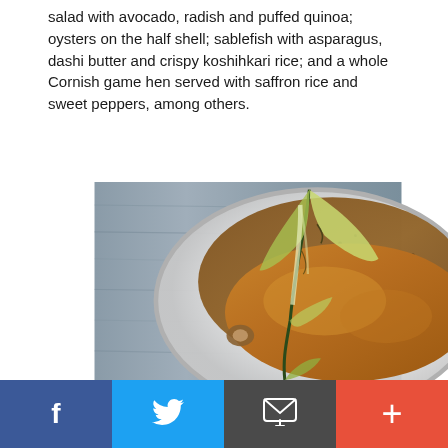salad with avocado, radish and puffed quinoa; oysters on the half shell; sablefish with asparagus, dashi butter and crispy koshihkari rice; and a whole Cornish game hen served with saffron rice and sweet peppers, among others.
[Figure (photo): A roasted Cornish game hen served in a white bowl with brown sauce and charred lettuce leaves, placed on a wooden table surface.]
Facebook | Twitter | Email | +